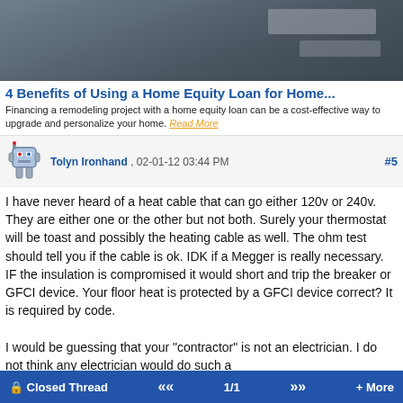[Figure (photo): Banner image showing a person and kitchen/home remodeling scene with dark overlay]
4 Benefits of Using a Home Equity Loan for Home...
Financing a remodeling project with a home equity loan can be a cost-effective way to upgrade and personalize your home. Read More
Tolyn Ironhand , 02-01-12 03:44 PM  #5
I have never heard of a heat cable that can go either 120v or 240v. They are either one or the other but not both. Surely your thermostat will be toast and possibly the heating cable as well. The ohm test should tell you if the cable is ok. IDK if a Megger is really necessary. IF the insulation is compromised it would short and trip the breaker or GFCI device. Your floor heat is protected by a GFCI device correct? It is required by code.

I would be guessing that your "contractor" is not an electrician. I do not think any electrician would do such a
🔒Closed Thread  «  1/1  »  + More